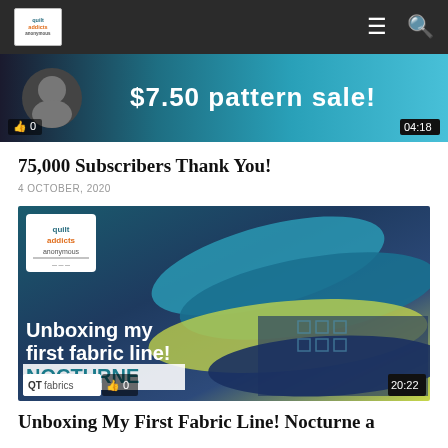Quilt Addicts Anonymous — navigation bar with logo, hamburger menu and search icon
[Figure (screenshot): Video thumbnail showing $7.50 pattern sale with avatar and teal background, duration 04:18]
75,000 Subscribers Thank You!
4 OCTOBER, 2020
[Figure (screenshot): Video thumbnail: Unboxing my first fabric line! NOCTURNE — Quilt Addicts Anonymous logo, OT fabrics logo, teal and navy rolled fabrics, duration 20:22]
Unboxing My First Fabric Line! Nocturne a